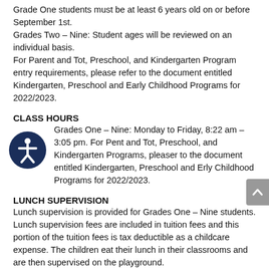Grade One students must be at least 6 years old on or before September 1st.
Grades Two – Nine: Student ages will be reviewed on an individual basis.
For Parent and Tot, Preschool, and Kindergarten Program entry requirements, please refer to the document entitled Kindergarten, Preschool and Early Childhood Programs for 2022/2023.
CLASS HOURS
Grades One – Nine: Monday to Friday, 8:22 am – 3:05 pm. For Parent and Tot, Preschool, and Kindergarten Programs, please refer to the document entitled Kindergarten, Preschool and Early Childhood Programs for 2022/2023.
LUNCH SUPERVISION
Lunch supervision is provided for Grades One – Nine students. Lunch supervision fees are included in tuition fees and this portion of the tuition fees is tax deductible as a childcare expense. The children eat their lunch in their classrooms and are then supervised on the playground.
Grades 1 – 6 Lunch Break: 12:05 – 1:00 pm.
Grades 7 – 9 Lunch Break: 12:45 – 1:30 pm.
AFTERCARE PROGRAM / EARLY DROP-OFF